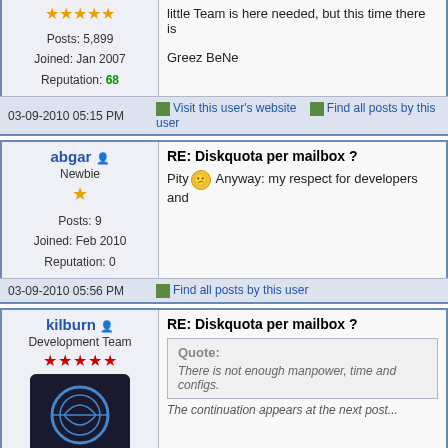Posts: 5,899
Joined: Jan 2007
Reputation: 68
little Team is here needed, but this time there is
Greez BeNe
03-09-2010 05:15 PM
Visit this user's website  Find all posts by this user
abgar
Newbie
Posts: 9
Joined: Feb 2010
Reputation: 0
RE: Diskquota per mailbox ?
Pity Anyway: my respect for developers and
03-09-2010 05:56 PM
Find all posts by this user
kilburn
Development Team
RE: Diskquota per mailbox ?
Quote:
There is not enough manpower, time and configs.